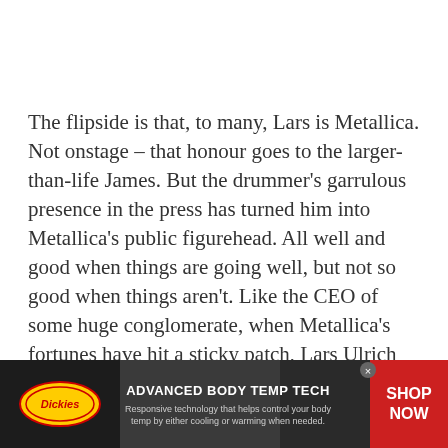The flipside is that, to many, Lars is Metallica. Not onstage – that honour goes to the larger-than-life James. But the drummer's garrulous presence in the press has turned him into Metallica's public figurehead. All well and good when things are going well, but not so good when things aren't. Like the CEO of some huge conglomerate, when Metallica's fortunes have hit a sticky patch, Lars Ulrich has borne the brunt of it. And there have been a few sticky patches over the last 30 years.
[Figure (infographic): Dickies advertisement banner: logo on left, center text 'ADVANCED BODY TEMP TECH — Responsive technology that helps control your body temp by either cooling or warming when needed.', red 'SHOP NOW' button on right. Dark background with a person in background.]